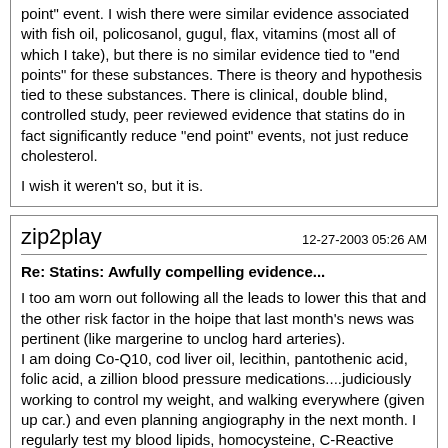point" event. I wish there were similar evidence associated with fish oil, policosanol, gugul, flax, vitamins (most all of which I take), but there is no similar evidence tied to "end points" for these substances. There is theory and hypothesis tied to these substances. There is clinical, double blind, controlled study, peer reviewed evidence that statins do in fact significantly reduce "end point" events, not just reduce cholesterol.

I wish it weren't so, but it is.
zip2play
12-27-2003 05:26 AM
Re: Statins: Awfully compelling evidence...
I too am worn out following all the leads to lower this that and the other risk factor in the hoipe that last month's news was pertinent (like margerine to unclog hard arteries).
I am doing Co-Q10, cod liver oil, lecithin, pantothenic acid, folic acid, a zillion blood pressure medications....judiciously working to control my weight, and walking everywhere (given up car.) and even planning angiography in the next month. I regularly test my blood lipids, homocysteine, C-Reactive protein, liver enzymes and creatine phosphokinase.

All this is nice and is certainly adding to my overall health but IMHO it is only the Lipitor that I am taking gives me some assurance that a lump of plaque might be discouraged from moving someplace untoward and killing me on the spot. If I get a sore knee....so be it! If a